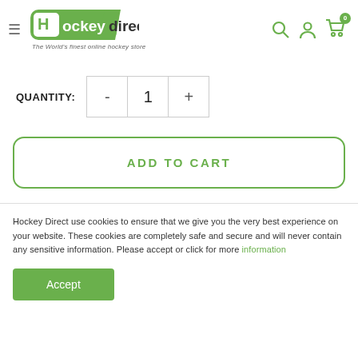[Figure (logo): Hockey Direct logo with green rounded rectangle background and 'Hockey direct' text, tagline 'The World's finest online hockey store']
QUANTITY:  -  1  +
ADD TO CART
Hockey Direct use cookies to ensure that we give you the very best experience on your website. These cookies are completely safe and secure and will never contain any sensitive information. Please accept or click for more information
Accept